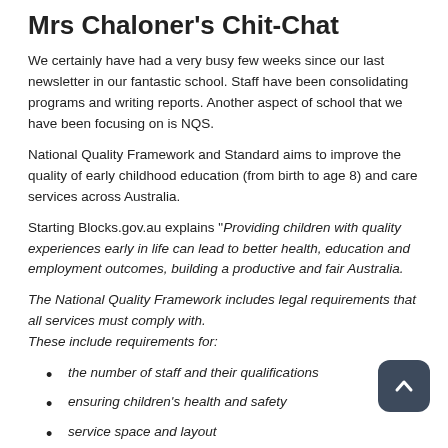Mrs Chaloner's Chit-Chat
We certainly have had a very busy few weeks since our last newsletter in our fantastic school.  Staff have been consolidating programs and writing reports.  Another aspect of school that we have been focusing on is NQS.
National Quality Framework and Standard aims to improve the quality of early childhood education (from birth to age 8) and care services across Australia.
Starting Blocks.gov.au explains “Providing children with quality experiences early in life can lead to better health, education and employment outcomes, building a productive and fair Australia.
The National Quality Framework includes legal requirements that all services must comply with.
These include requirements for:
the number of staff and their qualifications
ensuring children’s health and safety
service space and layout
the quality of the educational and care environment